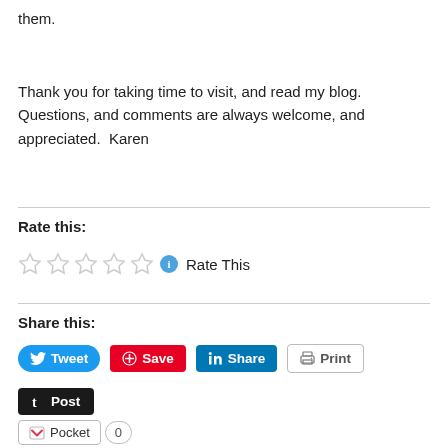them.
Thank you for taking time to visit, and read my blog.  Questions, and comments are always welcome, and appreciated.  Karen
Rate this:
[Figure (other): Five empty star rating icons followed by a blue info circle, and the text 'Rate This']
Share this:
[Figure (other): Social sharing buttons: Tweet (blue), Save (red Pinterest), Share (LinkedIn blue), Print (grey outline), Post (dark/Tumblr), Pocket with count 0]